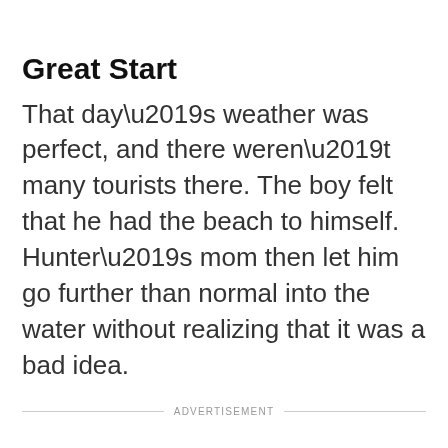Great Start
That day’s weather was perfect, and there weren’t many tourists there. The boy felt that he had the beach to himself. Hunter’s mom then let him go further than normal into the water without realizing that it was a bad idea.
ADVERTISEMENT